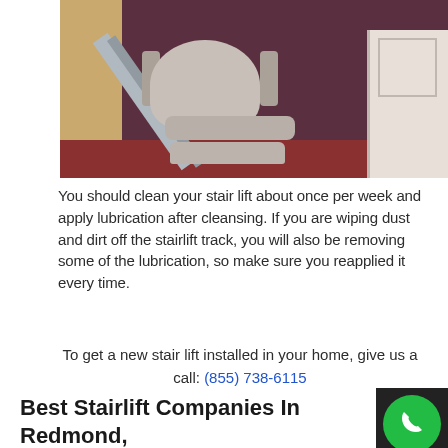[Figure (photo): A stairlift chair folded at the bottom of a staircase, showing the seat, armrests, footrest and rail track. Burgundy/maroon carpet on the stairs and floor. White door visible on the right side.]
You should clean your stair lift about once per week and apply lubrication after cleansing. If you are wiping dust and dirt off the stairlift track, you will also be removing some of the lubrication, so make sure you reapplied it every time.
To get a new stair lift installed in your home, give us a call: (855) 738-6115
Best Stairlift Companies In Redmond, Washington